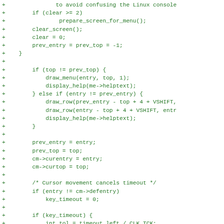[Figure (other): Code diff snippet showing C code additions (lines prefixed with +) for a menu/cursor handling function, including screen clearing, menu drawing, help display, timeout handling logic.]